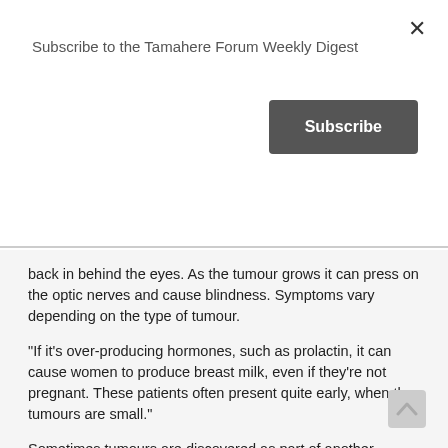Subscribe to the Tamahere Forum Weekly Digest
back in behind the eyes. As the tumour grows it can press on the optic nerves and cause blindness. Symptoms vary depending on the type of tumour.
“If it’s over-producing hormones, such as prolactin, it can cause women to produce breast milk, even if they’re not pregnant. These patients often present quite early, when the tumours are small.”
Sometimes tumours are discovered as part of another procedure.